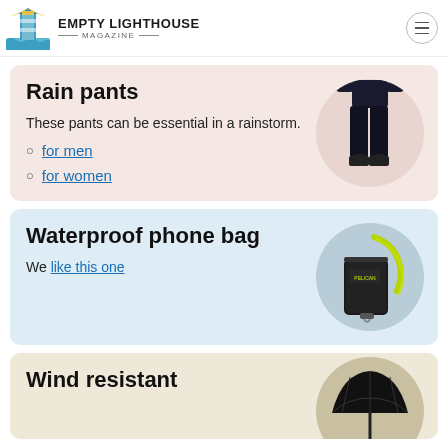EMPTY LIGHTHOUSE MAGAZINE
Rain pants
These pants can be essential in a rainstorm.
for men
for women
[Figure (photo): Person wearing black rain pants, full length shot on circular light background]
Waterproof phone bag
We like this one
[Figure (photo): Black waterproof phone bag with yellow-green lanyard on circular light background]
Wind resistant